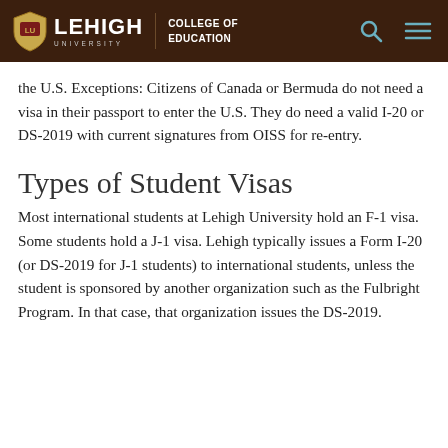LEHIGH UNIVERSITY | COLLEGE OF EDUCATION
the U.S. Exceptions: Citizens of Canada or Bermuda do not need a visa in their passport to enter the U.S. They do need a valid I-20 or DS-2019 with current signatures from OISS for re-entry.
Types of Student Visas
Most international students at Lehigh University hold an F-1 visa. Some students hold a J-1 visa. Lehigh typically issues a Form I-20 (or DS-2019 for J-1 students) to international students, unless the student is sponsored by another organization such as the Fulbright Program. In that case, that organization issues the DS-2019.